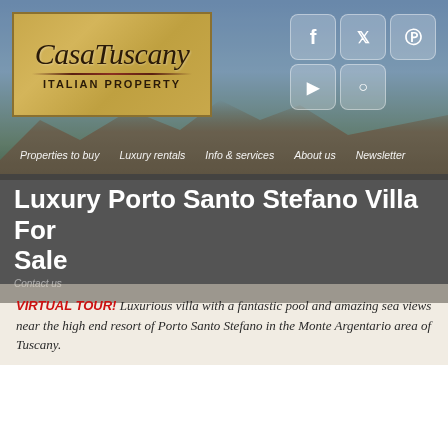[Figure (screenshot): Casa Tuscany Italian Property website header with logo, social media icons (Facebook, Twitter, Pinterest, YouTube, Instagram), and navigation bar over a background photo of Tuscan landscape and stone building]
Luxury Porto Santo Stefano Villa For Sale
VIRTUAL TOUR! Luxurious villa with a fantastic pool and amazing sea views near the high end resort of Porto Santo Stefano in the Monte Argentario area of Tuscany.
PRINT/SAVE PAGE
[Figure (photo): Photo of a luxurious villa with sea views near Porto Santo Stefano, showing a white building with terrace, lush green hillside, and blue water below]